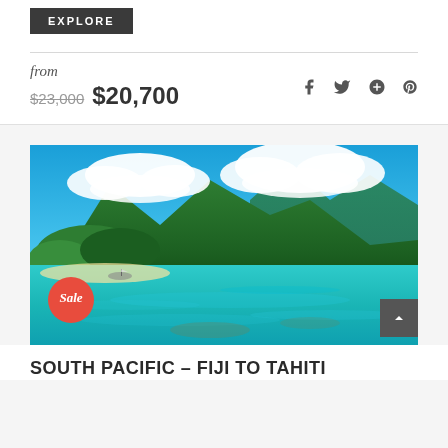EXPLORE
from
$23,000 $20,700
[Figure (photo): Tropical island beach photo with turquoise water, lush green mountains, white clouds and blue sky. A 'Sale' badge is visible in the lower-left corner.]
SOUTH PACIFIC – FIJI TO TAHITI